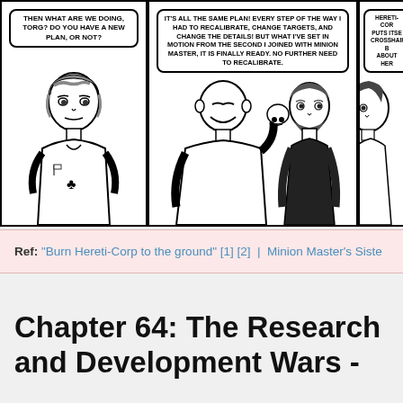[Figure (illustration): Comic strip panels showing characters in conversation. Panel 1: A girl with short hair asking 'THEN WHAT ARE WE DOING, TORG? DO YOU HAVE A NEW PLAN, OR NOT?' Panel 2: A bald smiling character holding something speaks 'IT'S ALL THE SAME PLAN! EVERY STEP OF THE WAY I HAD TO RECALIBRATE, CHANGE TARGETS, AND CHANGE THE DETAILS! BUT WHAT I'VE SET IN MOTION FROM THE SECOND I JOINED WITH MINION MASTER, IT IS FINALLY READY. NO FURTHER NEED TO RECALIBRATE.' A bearded figure stands nearby. Panel 3 (partial): A partial figure with speech bubble beginning 'HERETI-COR... PUTS ITSE... CROSSHAIRS, B... ABOUT HER...']
Ref: "Burn Hereti-Corp to the ground" [1] [2] | Minion Master's Siste
Chapter 64: The Research and Development Wars -